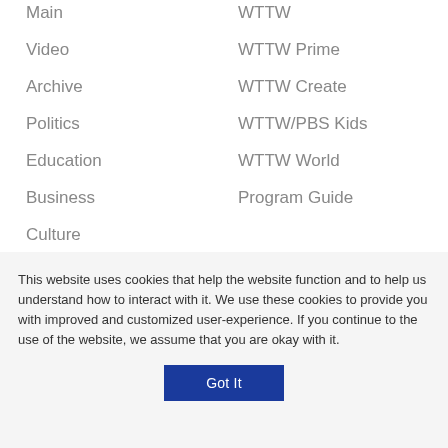Main
Video
Archive
Politics
Education
Business
Culture
Science/Technology
Contact Us
Advertise
About Us
WTTW
WTTW Prime
WTTW Create
WTTW/PBS Kids
WTTW World
Program Guide
This website uses cookies that help the website function and to help us understand how to interact with it. We use these cookies to provide you with improved and customized user-experience. If you continue to the use of the website, we assume that you are okay with it.
Got It